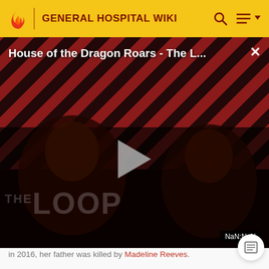GENERAL HOSPITAL WIKI
[Figure (screenshot): Video player thumbnail showing 'House of the Dragon Roars - The L...' with a play button overlay and 'THE LOOP' watermark on a dark red striped background. Two shadowed figures visible. NaN:NaN timestamp shown.]
in 2016, her father was killed by Madeline Reeves.
She and her mom have since started mending their relationship.
Kiki is a Nurse's Aide at GH and is currently in med school. She has become a follower/developed a relationship with E...